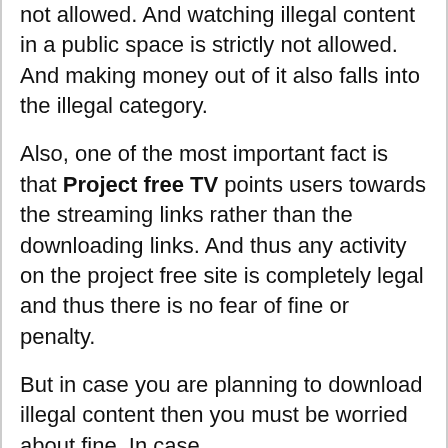not allowed. And watching illegal content in a public space is strictly not allowed. And making money out of it also falls into the illegal category.
Also, one of the most important fact is that Project free TV points users towards the streaming links rather than the downloading links. And thus any activity on the project free site is completely legal and thus there is no fear of fine or penalty.
But in case you are planning to download illegal content then you must be worried about fine. In case